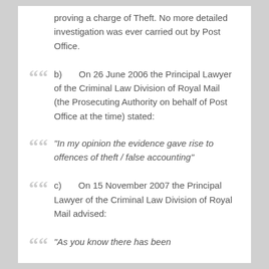proving a charge of Theft. No more detailed investigation was ever carried out by Post Office.
b)        On 26 June 2006 the Principal Lawyer of the Criminal Law Division of Royal Mail (the Prosecuting Authority on behalf of Post Office at the time) stated:
“In my opinion the evidence gave rise to offences of theft / false accounting”
c)        On 15 November 2007 the Principal Lawyer of the Criminal Law Division of Royal Mail advised:
“As you know there has been